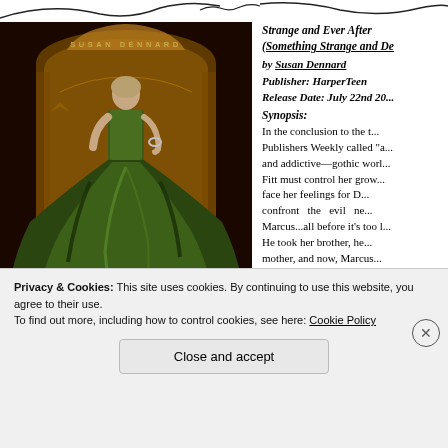[Figure (illustration): Book cover of 'Strange and Ever After' by Susan Dennard. Shows a woman in an elaborate dark green gown standing in front of an ornate golden arch on a dark background. Author name 'SUSAN DENNARD' appears at top in gold letters. Title 'STRANGE' appears at bottom in large gold letters with 'AND' below it.]
Strange and Ever After (Something Strange and De... by Susan Dennard
Publisher: HarperTeen
Release Date: July 22nd 20...
Synopsis:
In the conclusion to the t... Publishers Weekly called "a... and addictive—gothic worl... Fitt must control her grow... face her feelings for D... confront the evil ne... Marcus...all before it's too l... He took her brother, he... mother, and now, Marcus... her good friend Jie. W... to... Ele...
Privacy & Cookies: This site uses cookies. By continuing to use this website, you agree to their use.
To find out more, including how to control cookies, see here: Cookie Policy
Close and accept